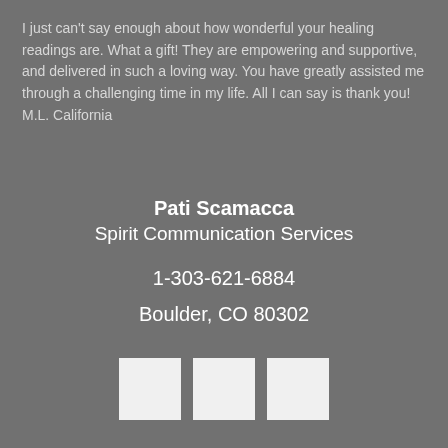I just can't say enough about how wonderful your healing readings are. What a gift! They are empowering and supportive, and delivered in such a loving way. You have greatly assisted me through a challenging time in my life. All I can say is thank you! M.L. California
Pati Scamacca
Spirit Communication Services
1-303-621-6884
Boulder, CO 80302
[Figure (other): Three white square social media icon placeholders arranged horizontally]